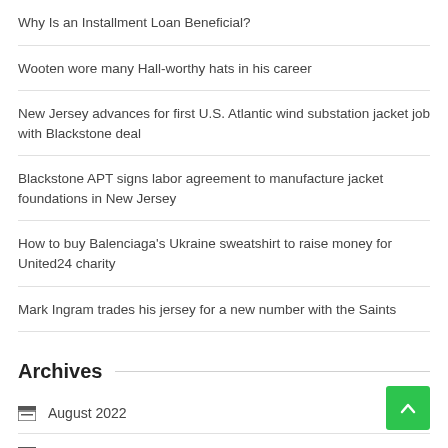Why Is an Installment Loan Beneficial?
Wooten wore many Hall-worthy hats in his career
New Jersey advances for first U.S. Atlantic wind substation jacket job with Blackstone deal
Blackstone APT signs labor agreement to manufacture jacket foundations in New Jersey
How to buy Balenciaga's Ukraine sweatshirt to raise money for United24 charity
Mark Ingram trades his jersey for a new number with the Saints
Archives
August 2022
July 2022